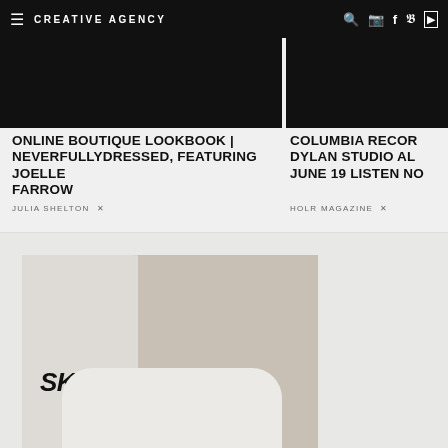CREATIVE AGENCY
[Figure (photo): Dark/black image strip on the left side, partial lookbook photo]
[Figure (photo): Dark/black image strip on the right side, partial studio album photo]
ONLINE BOUTIQUE LOOKBOOK | NEVERFULLYDRESSED, FEATURING JOELLE FARROW
JULIA SHELTON ✕
COLUMBIA RECOR DYLAN STUDIO AL JUNE 19 LISTEN NO
HOLR MAGAZINE ✕
[Figure (photo): SKIMS brand photo showing a woman in white loungewear on a white bed with a SKIMS logo pillow/bag]